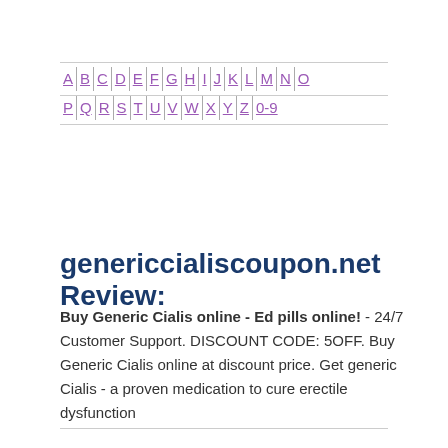A | B | C | D | E | F | G | H | I | J | K | L | M | N | O | P | Q | R | S | T | U | V | W | X | Y | Z | 0-9
genericcialiscoupon.net Review:
Buy Generic Cialis online - Ed pills online! - 24/7 Customer Support. DISCOUNT CODE: 5OFF. Buy Generic Cialis online at discount price. Get generic Cialis - a proven medication to cure erectile dysfunction